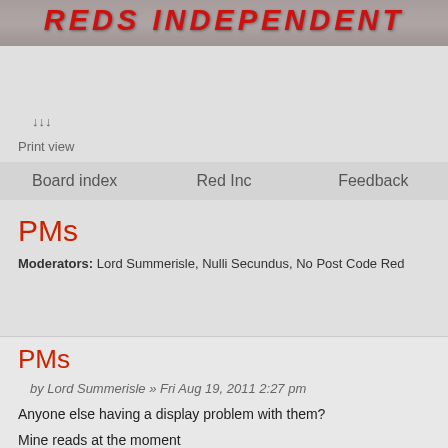[Figure (photo): Banner image showing football crowd with red and white flags, with red italic bold text 'REDS INDEPENDENT' overlaid]
↓↓↓
Print view
Board index    Red Inc    Feedback
PMs
Moderators: Lord Summerisle, Nulli Secundus, No Post Code Red
PMs
by Lord Summerisle » Fri Aug 19, 2011 2:27 pm
Anyone else having a display problem with them?
Mine reads at the moment